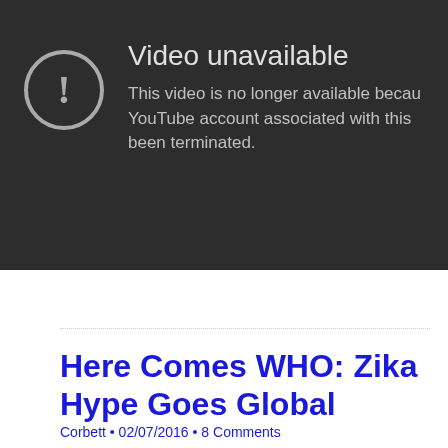[Figure (screenshot): YouTube video unavailable error screen. Dark gray background showing a circle with exclamation mark icon on the left, and text reading 'Video unavailable' as heading, followed by 'This video is no longer available because the YouTube account associated with this video has been terminated.']
Continue Reading »
Here Comes WHO: Zika Hype Goes Global
Corbett • 02/07/2016 • 8 Comments